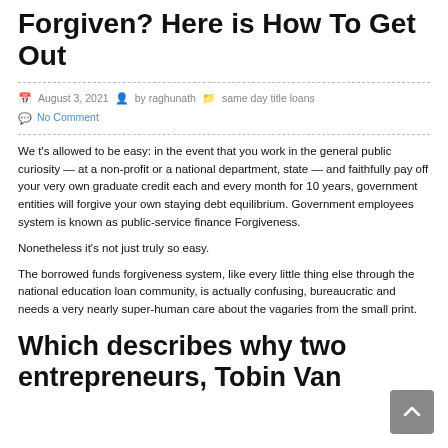Forgiven? Here is How To Get Out
August 3, 2021  by raghunath  same day title loans
No Comment
We t's allowed to be easy: in the event that you work in the general public curiosity — at a non-profit or a national department, state — and faithfully pay off your very own graduate credit each and every month for 10 years, government entities will forgive your own staying debt equilibrium. Government employees system is known as public-service finance Forgiveness.
Nonetheless it's not just truly so easy.
The borrowed funds forgiveness system, like every little thing else through the national education loan community, is actually confusing, bureaucratic and needs a very nearly super-human care about the vagaries from the small print.
Which describes why two entrepreneurs, Tobin Van